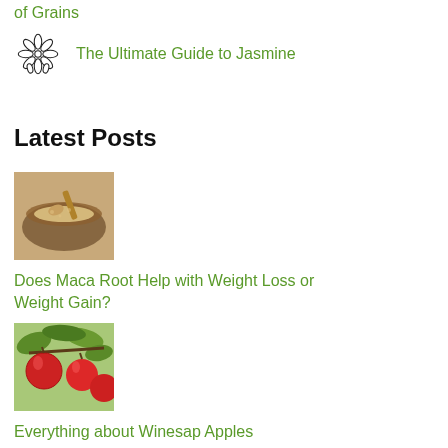of Grains
The Ultimate Guide to Jasmine
Latest Posts
[Figure (photo): Photo of maca root powder in a bowl with a spoon]
Does Maca Root Help with Weight Loss or Weight Gain?
[Figure (photo): Photo of red Winesap apples on a branch with green leaves]
Everything about Winesap Apples
Greger's 5:1 Fiber Ratio Rule